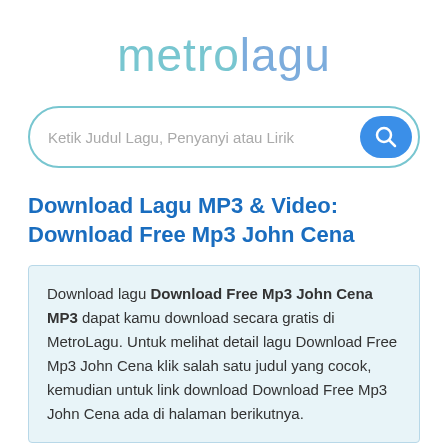[Figure (logo): metrolagu logo in teal/blue gradient text]
Ketik Judul Lagu, Penyanyi atau Lirik
Download Lagu MP3 & Video: Download Free Mp3 John Cena
Download lagu Download Free Mp3 John Cena MP3 dapat kamu download secara gratis di MetroLagu. Untuk melihat detail lagu Download Free Mp3 John Cena klik salah satu judul yang cocok, kemudian untuk link download Download Free Mp3 John Cena ada di halaman berikutnya.
John cena Free MP3 Download